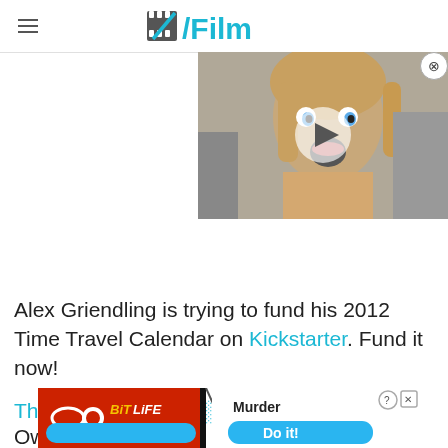/Film
[Figure (screenshot): Video player thumbnail showing a man with open mouth expression, with a play button overlay and close (X) button in top right]
Alex Griendling is trying to fund his 2012 Time Travel Calendar on Kickstarter. Fund it now!
The Ge...ld Own
[Figure (screenshot): BitLife advertisement banner with 'Murder Do it!' call to action button, partially overlapping the article text]